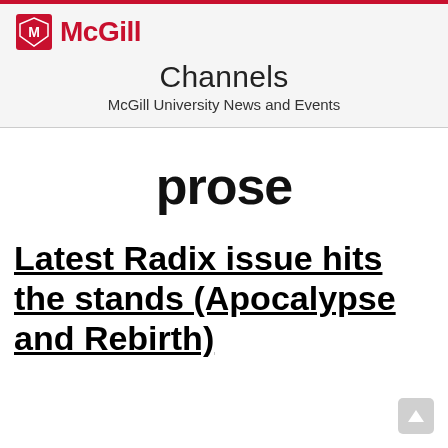McGill — Channels
McGill University News and Events
prose
Latest Radix issue hits the stands (Apocalypse and Rebirth)